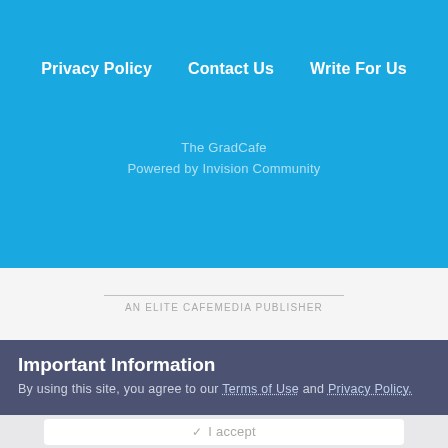Privacy Policy   Contact Us   Write For Us
The GradCafe
Powered by Invision Community
AN ELITE CAFEMEDIA PUBLISHER
Important Information
By using this site, you agree to our Terms of Use and Privacy Policy.
I accept